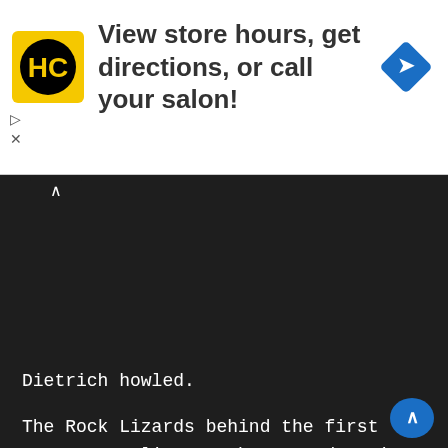[Figure (other): Advertisement banner: HC (Hair Club) logo in yellow square with black circle, text 'View store hours, get directions, or call your salon!', blue navigation diamond icon on right, play and close controls on left]
Dietrich howled.
The Rock Lizards behind the first group, crawling on the ground trying to overcome the corpses, raised their heads. Dietrich swung again, aiming at the throat they exposed.
“Five, six! The other two went to the right!”
Probably thinking they couldn’t match him, the remaining Rock Lizards cut off to the side.